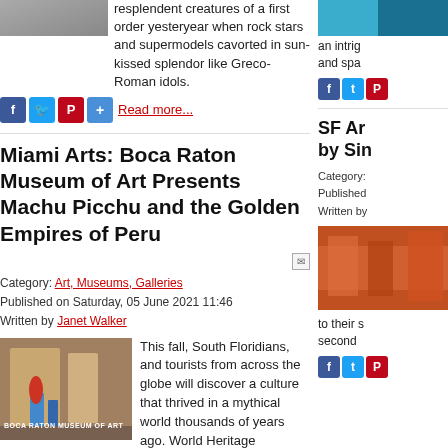[Figure (photo): Cropped photo at top left, grayscale/snowy appearance]
resplendent creatures of a first order yesteryear when rock stars and supermodels cavorted in sun-kissed splendor like Greco-Roman idols.
[Figure (photo): Partial colorful photo at top right]
an intrig and spa
Social share buttons: Facebook, Twitter, Pinterest, Plus | Read more...
Social share buttons right column: Facebook, Twitter, Pinterest
Miami Arts: Boca Raton Museum of Art Presents Machu Picchu and the Golden Empires of Peru
SF Ar by Sin
Category: Art, Museums, Galleries
Published on Saturday, 05 June 2021 11:46
Written by Janet Walker
Category:
Published
Written by
[Figure (photo): Boca Raton Museum of Art building exterior photo with red figure in front]
[Figure (photo): Colorful interior/event photo on right column]
This fall, South Floridians, and tourists from across the globe will discover a culture that thrived in a mythical world thousands of years ago. World Heritage Exhibitions announced May 18th the world premiere of Machu Picchu and the Golden Empires of Peru, opening on October 16, 2021.
to their s second
Social share buttons: Facebook, Twitter, Pinterest, Plus | Read more
Social share buttons right: Facebook, Twitter, Pinterest